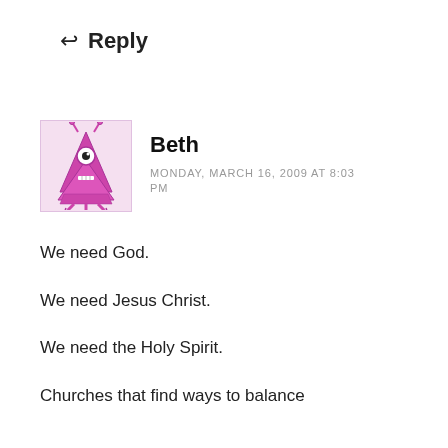Reply
[Figure (illustration): Cartoon avatar of a pink monster/alien character shaped like a Christmas tree with one eye, antennae, and legs]
Beth
MONDAY, MARCH 16, 2009 AT 8:03 PM
We need God.
We need Jesus Christ.
We need the Holy Spirit.
Churches that find ways to balance